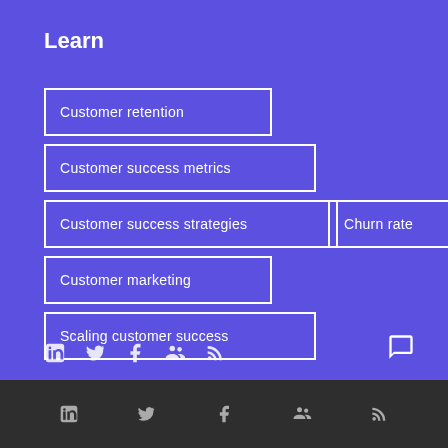Learn
Customer retention
Customer success metrics
Customer success strategies
Churn rate
Customer marketing
Scaling customer success
Social media icons: LinkedIn, Twitter, Facebook, Groups, RSS